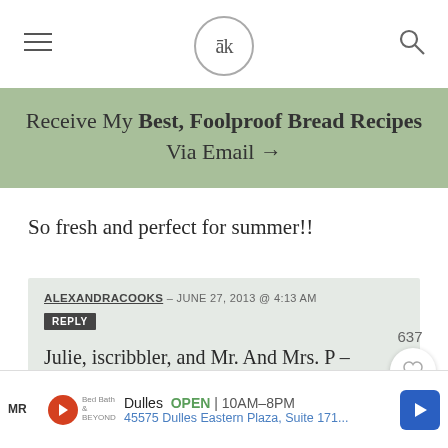ak (logo)
Receive My Best, Foolproof Bread Recipes Via Email →
So fresh and perfect for summer!!
ALEXANDRACOOKS — JUNE 27, 2013 @ 4:13 AM
REPLY
Julie, iscribbler, and Mr. And Mrs. P — thank you!
[Figure (other): Advertisement bar showing Dulles store: OPEN 10AM-8PM, 45575 Dulles Eastern Plaza, Suite 171..., with navigation arrow button]